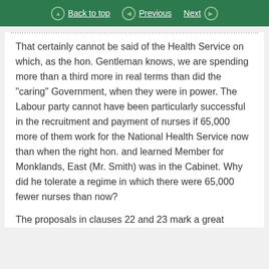Back to top | Previous | Next
That certainly cannot be said of the Health Service on which, as the hon. Gentleman knows, we are spending more than a third more in real terms than did the "caring" Government, when they were in power. The Labour party cannot have been particularly successful in the recruitment and payment of nurses if 65,000 more of them work for the National Health Service now than when the right hon. and learned Member for Monklands, East (Mr. Smith) was in the Cabinet. Why did he tolerate a regime in which there were 65,000 fewer nurses than now?
The proposals in clauses 22 and 23 mark a great